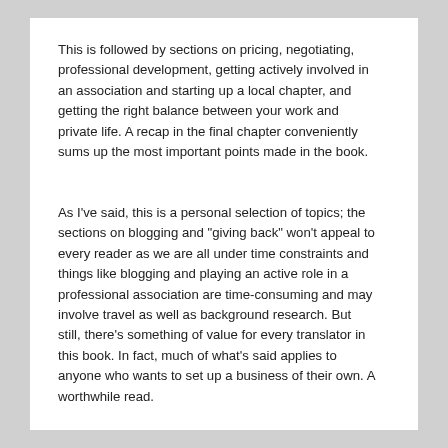This is followed by sections on pricing, negotiating, professional development, getting actively involved in an association and starting up a local chapter, and getting the right balance between your work and private life. A recap in the final chapter conveniently sums up the most important points made in the book.
As I've said, this is a personal selection of topics; the sections on blogging and "giving back" won't appeal to every reader as we are all under time constraints and things like blogging and playing an active role in a professional association are time-consuming and may involve travel as well as background research. But still, there's something of value for every translator in this book. In fact, much of what's said applies to anyone who wants to set up a business of their own. A worthwhile read.
Regards,